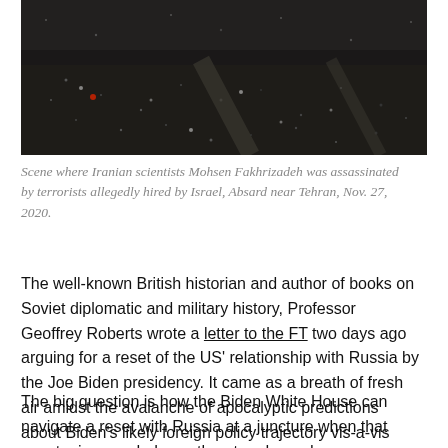[Figure (photo): Aerial or dark ground-level scene showing the location where Iranian scientist Mohsen Fakhrizadeh was assassinated near Tehran, showing dark ground with debris and scattered objects.]
Scene where Iranian scientists Mohsen Fakhrizadeh was assassinated by terrorists allegedly hired by Israel, Absard near Tehran, Nov. 27, 2020.
The well-known British historian and author of books on Soviet diplomatic and military history, Professor Geoffrey Roberts wrote a letter to the FT two days ago arguing for a reset of the US' relationship with Russia by the Joe Biden presidency. It came as a breath of fresh air amidst the avalanche of apocalyptic predictions about Biden's likely foreign policy trajectory vis-a-vis Russia.
The big question is how the Biden White House can navigate a reset with Russia at a juncture when that country is regarded as a threat and an adversary.